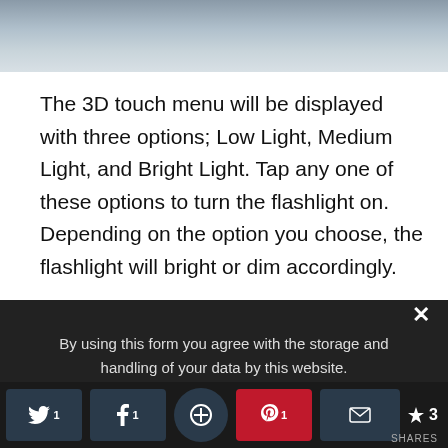[Figure (photo): Top portion of a photo showing a gradient sky/light background, gray-blue tones, cropped at the top of the page]
The 3D touch menu will be displayed with three options; Low Light, Medium Light, and Bright Light. Tap any one of these options to turn the flashlight on. Depending on the option you choose, the flashlight will bright or dim accordingly.
ALSO READ:  How to Use Reachability Feature in iOS
By using this form you agree with the storage and handling of your data by this website.
3 SHARES